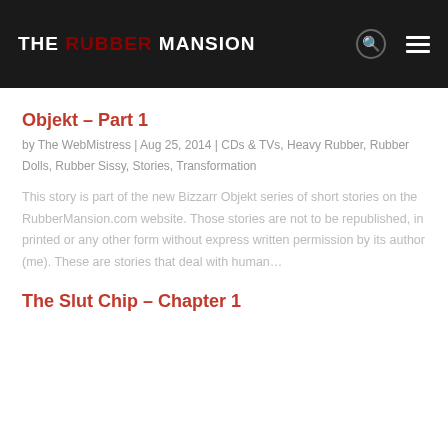THE RUBBER MANSION
Objekt – Part 1
by The WebMistress | Aug 25, 2014 | CDs & TVs, Heavy Rubber, Rubber Dolls, Rubber Sissy, Stories, Transformation
This story is part of the new Bizzarr Objekt series of short stories on the RubberMansion.com website. Those stories are not to be republished, in printed or any other form without express written permission by its author (me). These are stories that deal with human...
The Slut Chip – Chapter 1